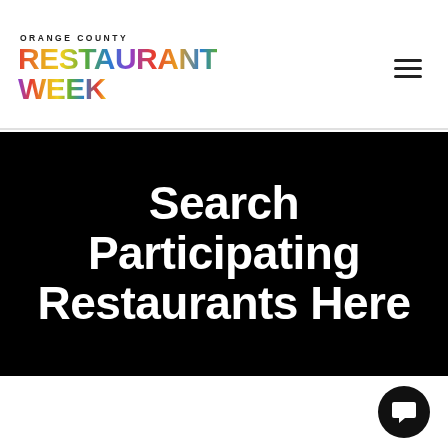[Figure (logo): Orange County Restaurant Week logo with colorful multicolor text on white background, with hamburger menu icon on the right]
Search Participating Restaurants Here
[Figure (other): Chat bubble icon button in dark circle at bottom right]